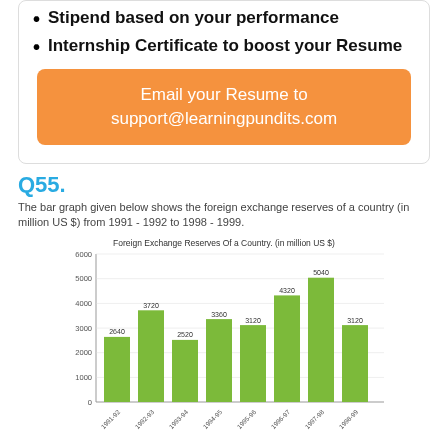Stipend based on your performance
Internship Certificate to boost your Resume
Email your Resume to support@learningpundits.com
Q55.
The bar graph given below shows the foreign exchange reserves of a country (in million US $) from 1991 - 1992 to 1998 - 1999.
[Figure (bar-chart): Foreign Exchange Reserves Of a Country. (in million US $)]
What was the percentage increase in the foreign exchange reserves in 1997-98 over 1993-94?